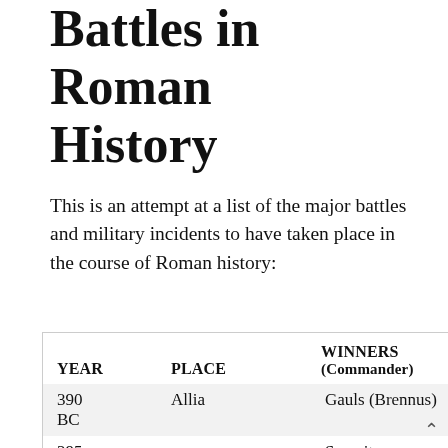Battles in Roman History
This is an attempt at a list of the major battles and military incidents to have taken place in the course of Roman history:
| YEAR | PLACE | WINNERS (Commander) |
| --- | --- | --- |
| 390 BC | Allia | Gauls (Brennus) |
| 295 |  | Samnites (Gellius |